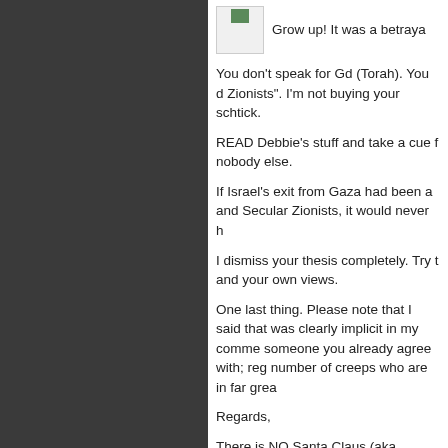[Figure (photo): Small avatar image placeholder box, light gray, with green icon at top]
Grow up! It was a betraya
You don't speak for Gd (Torah). You d Zionists". I'm not buying your schtick.
READ Debbie's stuff and take a cue f nobody else.
If Israel's exit from Gaza had been a and Secular Zionists, it would never h
I dismiss your thesis completely. Try t and your own views.
One last thing. Please note that I said that was clearly implicit in my comme someone you already agree with; reg number of creeps who are in far grea
Regards,
There is NO Santa Claus (aka TINSC
There is NO Santa Claus on January 13